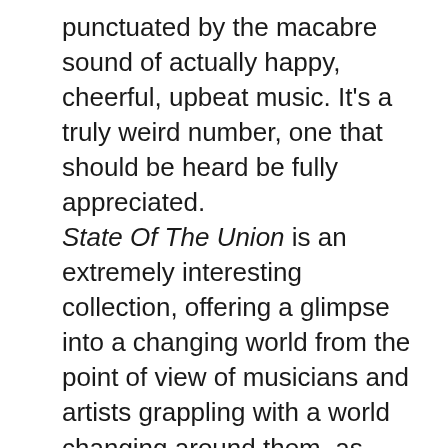punctuated by the macabre sound of actually happy, cheerful, upbeat music. It’s a truly weird number, one that should be heard be fully appreciated.
State Of The Union is an extremely interesting collection, offering a glimpse into a changing world from the point of view of musicians and artists grappling with a world changing around them, as they strive to continue their careers for a truly neglected demographic; sounds for the Silent Majority.